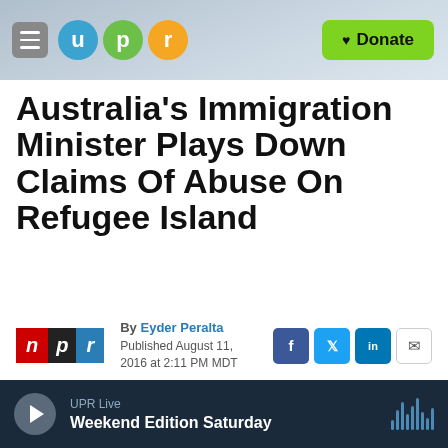UPR — Donate
Australia's Immigration Minister Plays Down Claims Of Abuse On Refugee Island
By Eyder Peralta
Published August 11, 2016 at 2:11 PM MDT
[Figure (photo): Aerial photograph of a remote island/jungle clearing area, likely a refugee detention facility on Manus Island]
UPR Live — Weekend Edition Saturday